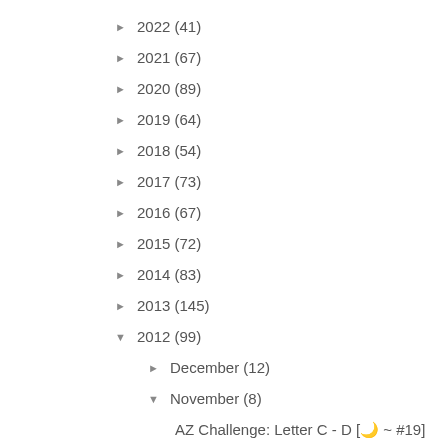► 2022 (41)
► 2021 (67)
► 2020 (89)
► 2019 (64)
► 2018 (54)
► 2017 (73)
► 2016 (67)
► 2015 (72)
► 2014 (83)
► 2013 (145)
▼ 2012 (99)
► December (12)
▼ November (8)
AZ Challenge: Letter C - D [🌙 ~ #19]
AZ Challenge: Letter B [🌙 ~ #18]